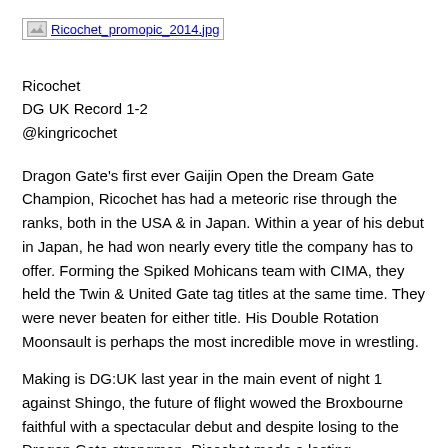[Figure (photo): Broken image placeholder link labeled Ricochet_promopic_2014.jpg]
Ricochet
DG UK Record 1-2
@kingricochet
Dragon Gate's first ever Gaijin Open the Dream Gate Champion, Ricochet has had a meteoric rise through the ranks, both in the USA & in Japan. Within a year of his debut in Japan, he had won nearly every title the company has to offer. Forming the Spiked Mohicans team with CIMA, they held the Twin & United Gate tag titles at the same time. They were never beaten for either title. His Double Rotation Moonsault is perhaps the most incredible move in wrestling.
Making is DG:UK last year in the main event of night 1 against Shingo, the future of flight wowed the Broxbourne faithful with a spectacular debut and despite losing to the Dragon Gate strongman, Ricochet made a lasting impression on the UK fans, so much so he has been over regularly for many UK and European promotions since. The following night he evened up his win loss record with a strong outing against Genki Horiguchi before heading to the All Star Tag Match the following